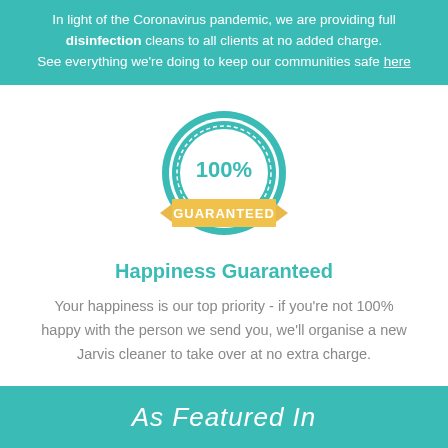In light of the Coronavirus pandemic, we are providing full disinfection cleans to all clients at no added charge. See everything we're doing to keep our communities safe here
[Figure (infographic): Circular badge/seal with teal ring, dashed inner border, showing '100%' in teal text, overlaid with a gold/yellow ribbon banner reading 'GUARANTEED' in white uppercase letters]
Happiness Guaranteed
Your happiness is our top priority - if you're not 100% happy with the person we send you, we'll organise a new Jarvis cleaner to take over at no extra charge.
As Featured In